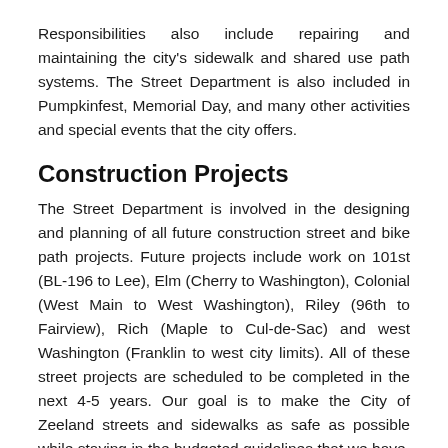Responsibilities also include repairing and maintaining the city's sidewalk and shared use path systems. The Street Department is also included in Pumpkinfest, Memorial Day, and many other activities and special events that the city offers.
Construction Projects
The Street Department is involved in the designing and planning of all future construction street and bike path projects. Future projects include work on 101st (BL-196 to Lee), Elm (Cherry to Washington), Colonial (West Main to West Washington), Riley (96th to Fairview), Rich (Maple to Cul-de-Sac) and west Washington (Franklin to west city limits). All of these street projects are scheduled to be completed in the next 4-5 years. Our goal is to make the City of Zeeland streets and sidewalks as safe as possible while staying in the budgeted guidelines that we have. We are constantly working on our 10-year street plan trying to stay within